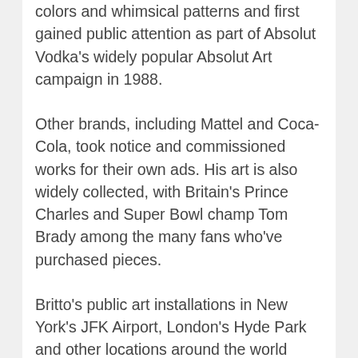colors and whimsical patterns and first gained public attention as part of Absolut Vodka's widely popular Absolut Art campaign in 1988.
Other brands, including Mattel and Coca-Cola, took notice and commissioned works for their own ads. His art is also widely collected, with Britain's Prince Charles and Super Bowl champ Tom Brady among the many fans who've purchased pieces.
Britto's public art installations in New York's JFK Airport, London's Hyde Park and other locations around the world have brought joy to millions of people as they go about their everyday activities. His popularity has made Britto the most widely licensed artist in history, with images of his art found on everything from watches to neckties to a limited-edition Monopoly game.